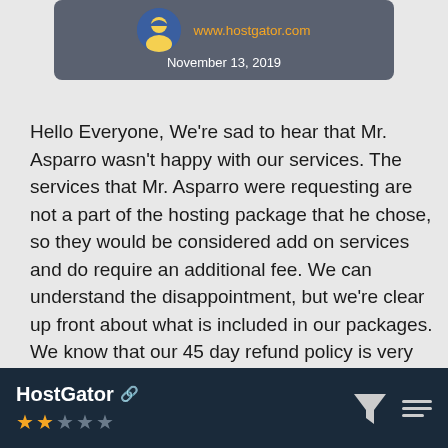www.hostgator.com · November 13, 2019
Hello Everyone, We're sad to hear that Mr. Asparro wasn't happy with our services. The services that Mr. Asparro were requesting are not a part of the hosting package that he chose, so they would be considered add on services and do require an additional fee. We can understand the disappointment, but we're clear up front about what is included in our packages. We know that our 45 day refund policy is very generous and is more than most web-hosting companies offer. We know that Mr. Asparro isn't happy to not be getting a refund, but we stand by our refund policies. Mr Asparro is always welcome to come back, at any time, and use the services for the remainder of his contract. We appreciate the review, but hope that everyone understands
HostGator ★★☆☆☆